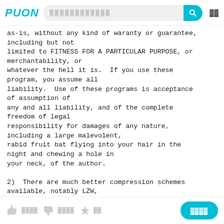Puon [search bar] [menu icon]
as-is, without any kind of waranty or guarantee, including but not
limited to FITNESS FOR A PARTICULAR PURPOSE, or merchantability, or
whatever the hell it is.  If you use these program, you assume all
liability.  Use of these programs is acceptance of assumption of
any and all liability, and of the complete freedom of legal
responsibility for damages of any nature, including a large malevolent,
rabid fruit bat flying into your hair in the night and chewing a hole in
your neck, of the author.

2)  There are much better compression schemes available, notably LZW,
and possibly RLE, depending on your data.  LZW, RLE, and this Huffman
implementation are lossless, and are typically
[thumbs up] 0000 [thumbs down] 0000 [star] 00   [button: 0000]